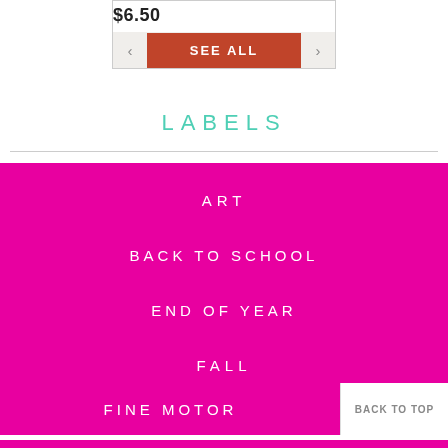$6.50
[Figure (screenshot): Navigation card with price $6.50, left arrow, SEE ALL button in dark red, right arrow]
LABELS
ART
BACK TO SCHOOL
END OF YEAR
FALL
FINE MOTOR
BACK TO TOP